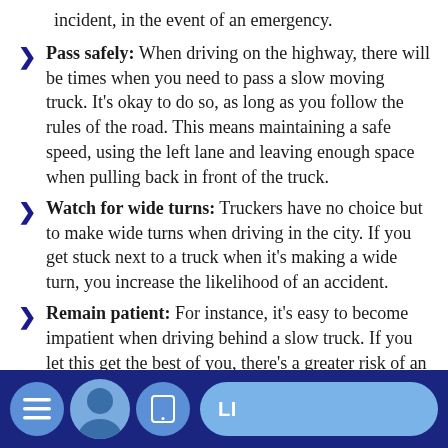leaving enough space, you're in position to stop, minimize an incident, in the event of an emergency.
Pass safely: When driving on the highway, there will be times when you need to pass a slow moving truck. It's okay to do so, as long as you follow the rules of the road. This means maintaining a safe speed, using the left lane and leaving enough space when pulling back in front of the truck.
Watch for wide turns: Truckers have no choice but to make wide turns when driving in the city. If you get stuck next to a truck when it's making a wide turn, you increase the likelihood of an accident.
Remain patient: For instance, it's easy to become impatient when driving behind a slow truck. If you let this get the best of you, there's a greater risk of an accident.
Navigation bar with menu, avatar, tablet, and action button